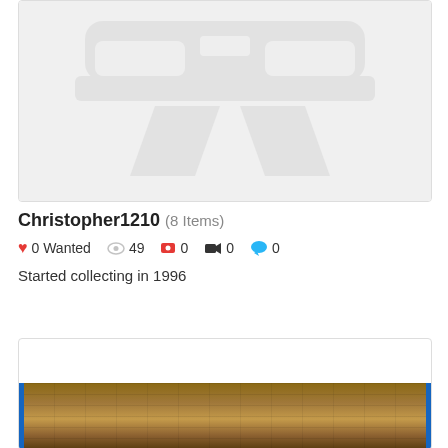[Figure (illustration): Placeholder car image with gray car silhouette (front bumper/grill view) and two parallelogram shapes below, on light gray background]
Christopher1210 (8 Items)
0 Wanted   49   0   0   0
Started collecting in 1996
[Figure (photo): Partial photo showing a wooden shelf or surface with brick wall background, partially visible, with blue vertical bars on left and right edges]